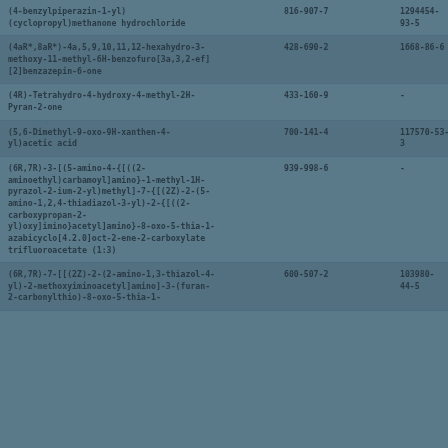| (4-benzylpiperazin-1-yl)(cyclopropyl)methanone hydrochloride | 816-907-7 | 1294454-93-5 |
| (4aR*,8aR*)-4a,5,9,10,11,12-hexahydro-3-methoxy-11-methyl-6H-benzofuro[3a,3,2-ef][2]benzazepin-6-one | 428-690-2 | 1668-86-6 |
| (4R)-Tetrahydro-4-hydroxy-4-methyl-2H-Pyran-2-one | 433-160-9 | - |
| (5,6-Dimethyl-9-oxo-9H-xanthen-4-yl)acetic acid | 700-141-4 | 117570-53-3 |
| (6R,7R)-3-[(5-amino-4-{[((2-aminoethyl)carbamoyl]amino}-1-methyl-1H-pyrazol-2-ium-2-yl)methyl]-7-{[(2Z)-2-(5-amino-1,2,4-thiadiazol-3-yl)-2-{[((2-carboxypropan-2-yl)oxy]imino}acetyl]amino}-8-oxo-5-thia-1-azabicyclo[4.2.0]oct-2-ene-2-carboxylate trifluoroacetate (1:3) | 939-998-6 | - |
| (6R,7R)-7-[[(2Z)-2-(2-amino-1,3-thiazol-4-yl)-2-methoxyiminoacetyl]amino]-3-(furan-2-carbonylthio)-8-oxo-5-thia-1- | 600-507-2 | 103980-44-5 |